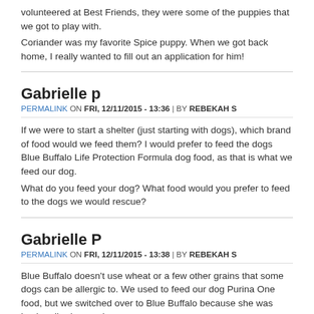volunteered at Best Friends, they were some of the puppies that we got to play with.
Coriander was my favorite Spice puppy. When we got back home, I really wanted to fill out an application for him!
Gabrielle p
PERMALINK ON FRI, 12/11/2015 - 13:36 | BY REBEKAH S
If we were to start a shelter (just starting with dogs), which brand of food would we feed them? I would prefer to feed the dogs Blue Buffalo Life Protection Formula dog food, as that is what we feed our dog.
What do you feed your dog? What food would you prefer to feed to the dogs we would rescue?
Gabrielle P
PERMALINK ON FRI, 12/11/2015 - 13:38 | BY REBEKAH S
Blue Buffalo doesn't use wheat or a few other grains that some dogs can be allergic to. We used to feed our dog Purina One food, but we switched over to Blue Buffalo because she was having diarrhea and